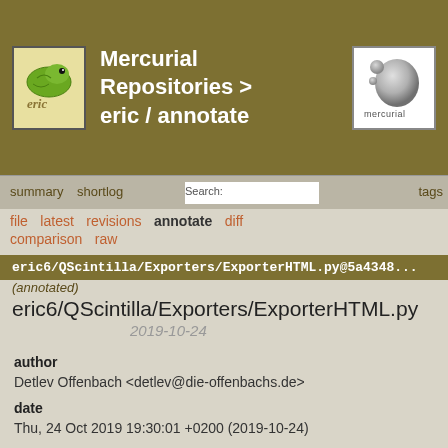[Figure (logo): Eric IDE snake logo on left and Mercurial logo on right, inside olive/khaki header banner with title 'Mercurial Repositories > eric / annotate']
Mercurial Repositories > eric / annotate
summary | shortlog | tags
file   latest   revisions   annotate   diff   comparison   raw
eric6/QScintilla/Exporters/ExporterHTML.py@5a4348...
(annotated)
eric6/QScintilla/Exporters/ExporterHTML.py
2019-10-24
author
Detlev Offenbach <detlev@die-offenbachs.de>
date
Thu, 24 Oct 2019 19:30:01 +0200 (2019-10-24)